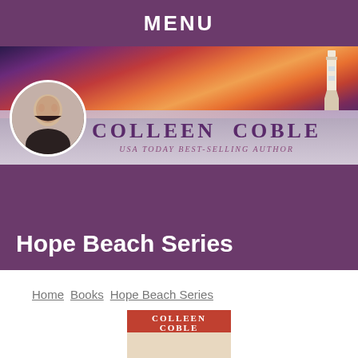MENU
[Figure (photo): Website banner for Colleen Coble author website showing a dramatic sunset sky with lighthouse, with the author's circular photo on the left, and text 'COLLEEN COBLE – USA TODAY BEST-SELLING AUTHOR']
Hope Beach Series
Home   Books   Hope Beach Series
[Figure (photo): Partial view of a book cover showing 'COLLEEN COBLE' text at the top]